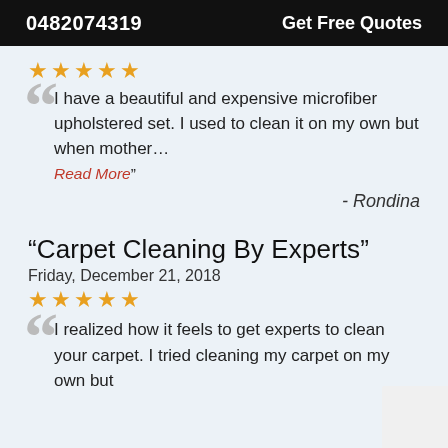0482074319   Get Free Quotes
★★★★★
I have a beautiful and expensive microfiber upholstered set. I used to clean it on my own but when mother… Read More"
- Rondina
“Carpet Cleaning By Experts”
Friday, December 21, 2018
★★★★★
I realized how it feels to get experts to clean your carpet. I tried cleaning my carpet on my own but